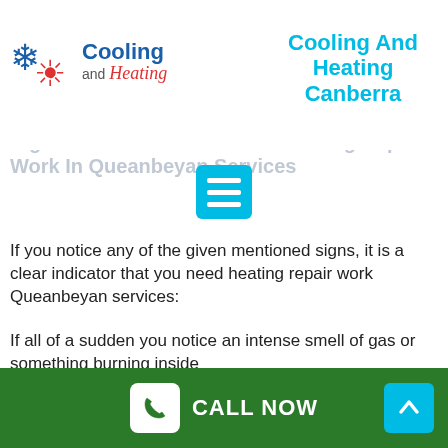[Figure (logo): Cooling and Heating logo with snowflake and sun icon on the left, company name on the right]
Cooling And Heating Canberra
Signs You Need Ducted Gas Heating Repair Work In Queanbeyan Services
If you notice any of the given mentioned signs, it is a clear indicator that you need heating repair work Queanbeyan services:
If all of a sudden you notice an intense smell of gas or something burning inside
Even more, if your heating system is not working effectively, shut it off immediately.
If the heating unit is not dispersing the heated air equally.
If you see sudden sparks among the wires of the
CALL NOW